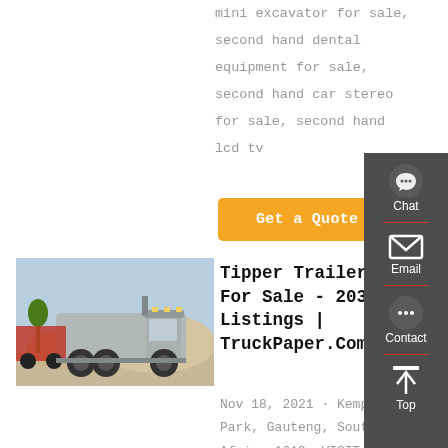mini excavator for sale, second hand dental equipment for sale, second hand car stereo for sale, second hand lcd tv
Get a Quote
[Figure (photo): Silver heavy-duty truck/tractor unit parked outdoors]
Tipper Trailers For Sale - 203 Listings | TruckPaper.Com
Nov 18, 2021 · Kempton Park, Gauteng, South Africa 1619. VISIT OUR